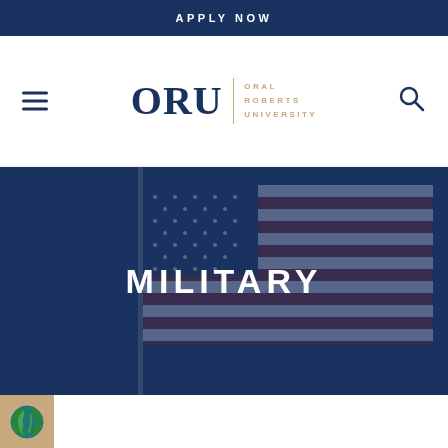APPLY NOW
[Figure (logo): ORU Oral Roberts University logo with hamburger menu icon on the left and search icon on the right]
[Figure (photo): American flag waving against a dark blue sky with a dark blue overlay, with the text MILITARY overlaid in large white bold letters]
MILITARY
[Figure (illustration): Small globe icon on a tan/gold background in the bottom left corner]